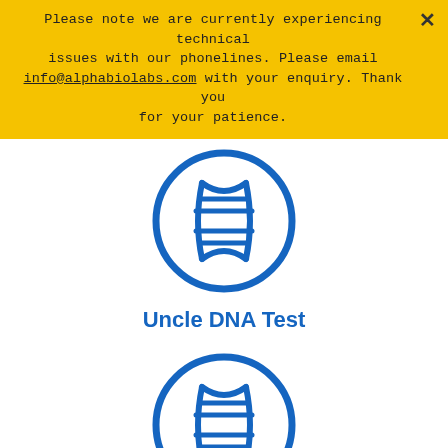Please note we are currently experiencing technical issues with our phonelines. Please email info@alphabiolabs.com with your enquiry. Thank you for your patience.
[Figure (illustration): Blue DNA double helix icon inside a blue circle outline, representing Uncle DNA Test]
Uncle DNA Test
[Figure (illustration): Blue DNA double helix icon inside a blue circle outline, representing Grandparent DNA Test]
Grandparent DNA Test